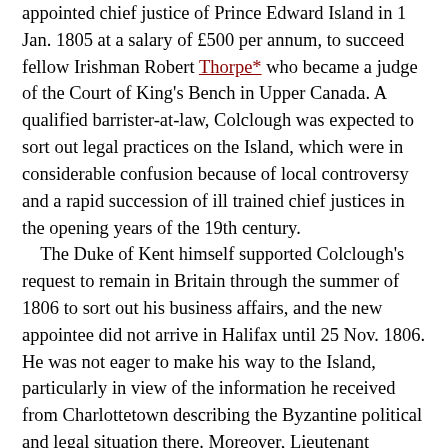appointed chief justice of Prince Edward Island in 1 Jan. 1805 at a salary of £500 per annum, to succeed fellow Irishman Robert Thorpe* who became a judge of the Court of King's Bench in Upper Canada. A qualified barrister-at-law, Colclough was expected to sort out legal practices on the Island, which were in considerable confusion because of local controversy and a rapid succession of ill trained chief justices in the opening years of the 19th century.
The Duke of Kent himself supported Colclough's request to remain in Britain through the summer of 1806 to sort out his business affairs, and the new appointee did not arrive in Halifax until 25 Nov. 1806. He was not eager to make his way to the Island, particularly in view of the information he received from Charlottetown describing the Byzantine political and legal situation there. Moreover, Lieutenant Governor Sir John Wentworth* of Nova Scotia advised him that the sole way to remain uninvolved in Island politics – and therefore impartial – was to visit only when his court was in session. Furthermore, as a